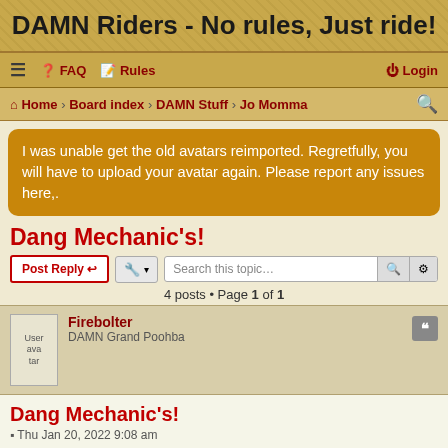DAMN Riders - No rules, Just ride!
≡  FAQ  Rules  Login
Home › Board index › DAMN Stuff › Jo Momma
I was unable get the old avatars reimported. Regretfully, you will have to upload your avatar again. Please report any issues here,.
Dang Mechanic's!
4 posts • Page 1 of 1
Firebolter
DAMN Grand Poohba
Dang Mechanic's!
Thu Jan 20, 2022 9:08 am
Every time I read a story related to something like this, I will never forget the day I was at the Suzuki shop in my home town as a teenager. I was friends with one of the guys that worked there. The lead mechanic and